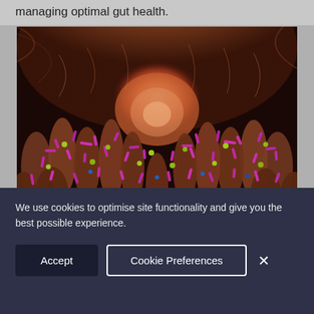managing optimal gut health.
[Figure (photo): Close-up 3D illustration of intestinal villi with gut microbiome bacteria (pink/magenta rod-shaped and other colored microorganisms) on the intestinal wall, showing the tunnel-like interior of the gut.]
We use cookies to optimise site functionality and give you the best possible experience.
Accept   Cookie Preferences   ×